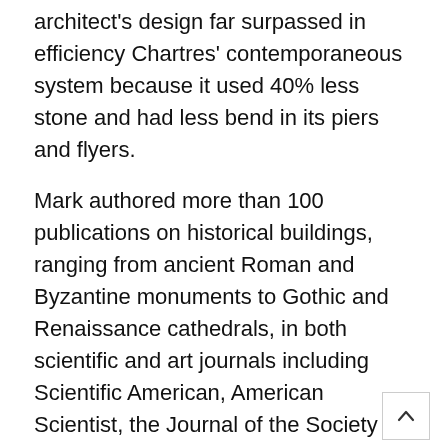architect's design far surpassed in efficiency Chartres' contemporaneous system because it used 40% less stone and had less bend in its piers and flyers.
Mark authored more than 100 publications on historical buildings, ranging from ancient Roman and Byzantine monuments to Gothic and Renaissance cathedrals, in both scientific and art journals including Scientific American, American Scientist, the Journal of the Society of Architectural Historians and Art Bulletin.
His books include “Experiments in Gothic Structure” (1982, republished 2014); “Light, Wind and Structure: The Mystery of the Master Builders” (1990), whic won the American Institute of Architects